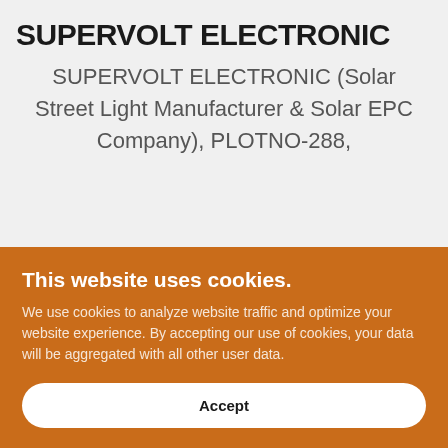SUPERVOLT ELECTRONIC
SUPERVOLT ELECTRONIC (Solar Street Light Manufacturer & Solar EPC Company), PLOTNO-288,
This website uses cookies.
We use cookies to analyze website traffic and optimize your website experience. By accepting our use of cookies, your data will be aggregated with all other user data.
Accept